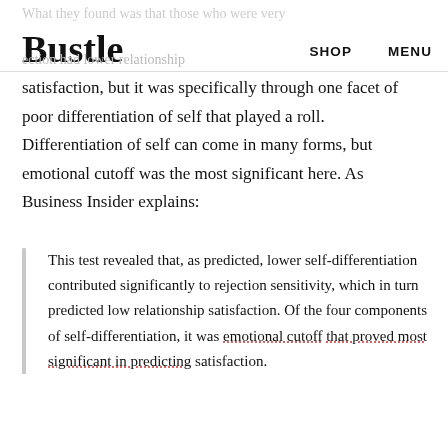Bustle | SHOP  MENU
satisfaction, but it was specifically through one facet of poor differentiation of self that played a roll. Differentiation of self can come in many forms, but emotional cutoff was the most significant here. As Business Insider explains:
This test revealed that, as predicted, lower self-differentiation contributed significantly to rejection sensitivity, which in turn predicted low relationship satisfaction. Of the four components of self-differentiation, it was emotional cutoff that proved most significant in predicting satisfaction.